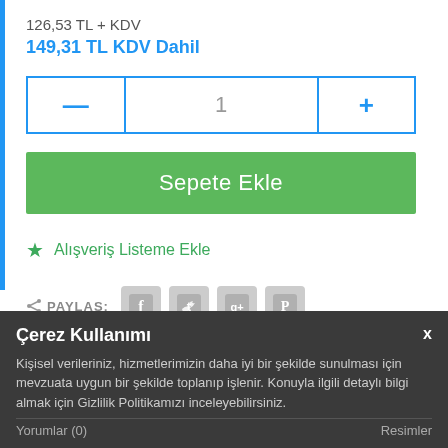126,53 TL + KDV
149,31 TL KDV Dahil
[Figure (screenshot): Quantity selector with minus, 1, plus buttons in blue border]
Sepete Ekle
★ Alışveriş Listeme Ekle
PAYLAŞ:
[Figure (screenshot): Social share icons: Facebook, Twitter, Google+, Pinterest]
Çerez Kullanımı
Kişisel verileriniz, hizmetlerimizin daha iyi bir şekilde sunulması için mevzuata uygun bir şekilde toplanıp işlenir. Konuyla ilgili detaylı bilgi almak için Gizlilik Politikamızı inceleyebilirsiniz.
Yorumlar (0)
Resimler